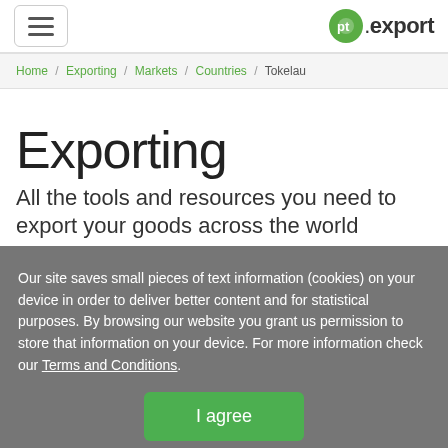pt.export logo with hamburger menu navigation
Home / Exporting / Markets / Countries / Tokelau
Exporting
All the tools and resources you need to export your goods across the world
Our site saves small pieces of text information (cookies) on your device in order to deliver better content and for statistical purposes. By browsing our website you grant us permission to store that information on your device. For more information check our Terms and Conditions.
I agree